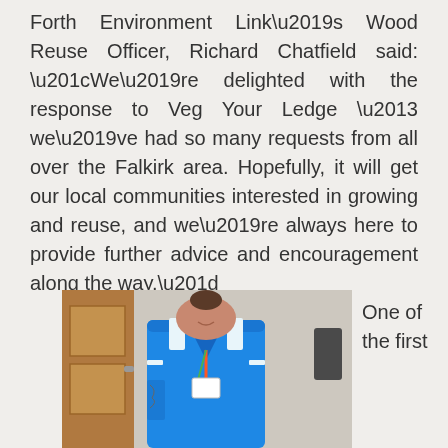Forth Environment Link's Wood Reuse Officer, Richard Chatfield said: “We’re delighted with the response to Veg Your Ledge – we’ve had so many requests from all over the Falkirk area. Hopefully, it will get our local communities interested in growing and reuse, and we’re always here to provide further advice and encouragement along the way.”
[Figure (photo): A woman wearing a blue NHS-style nurse uniform with a white collar trim and an ID lanyard badge, smiling, standing in front of a wooden door and light-coloured wall.]
One of the first